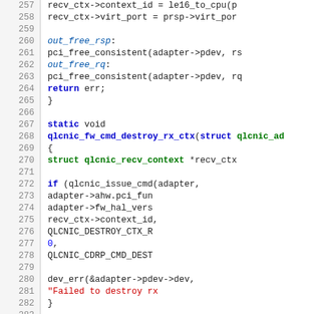[Figure (screenshot): Source code listing in C, lines 257-283, showing kernel driver code for qlcnic network driver with syntax highlighting. Functions include destroy_rx_ctx with struct definitions, if statements, and error handling.]